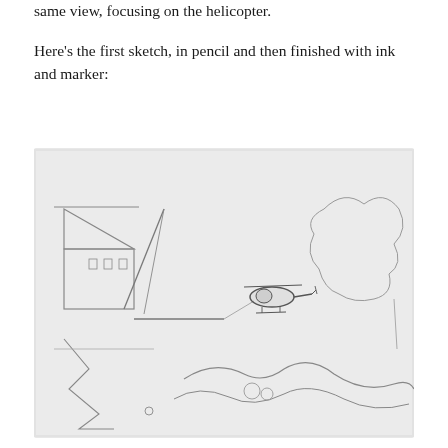same view, focusing on the helicopter.
Here's the first sketch, in pencil and then finished with ink and marker:
[Figure (illustration): A pencil sketch showing a landscape scene with a helicopter in flight in the center, connected by a line to a tall structure on the left. Buildings are on the left side, and trees/terrain outlines are on the right. A winding river or path flows through the lower portion of the scene.]